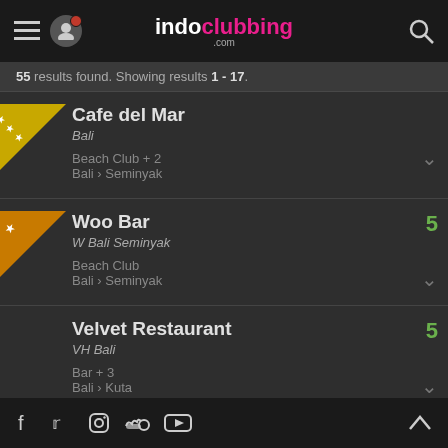indoclubbing.com
55 results found. Showing results 1 - 17.
Cafe del Mar
Bali
Beach Club + 2
Bali › Seminyak
Woo Bar
W Bali Seminyak
Beach Club
Bali › Seminyak
5
Velvet Restaurant
VH Bali
Bar + 3
Bali › Kuta
5
Sky Bar
Mulia Bali Hotel & Resort
Bar + 2
4
Social media icons: Facebook, Twitter, Instagram, SoundCloud, YouTube